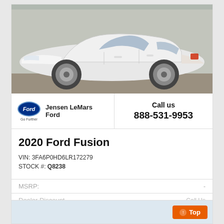[Figure (photo): Side profile photo of a white 2020 Ford Fusion sedan parked on pavement in front of a building]
Jensen LeMars Ford
Call us
888-531-9953
2020 Ford Fusion
VIN: 3FA6P0HD6LR172279
STOCK #: Q8238
MSRP:
Dealer Discount
Call Us
CLICK HERE
$26,995